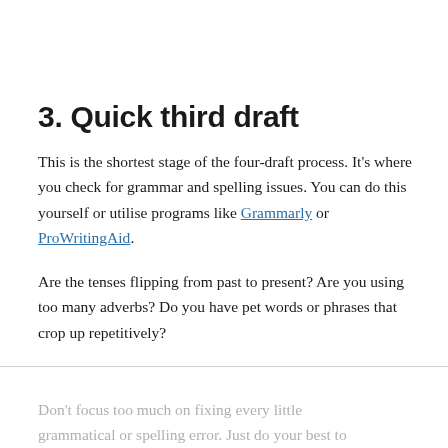3. Quick third draft
This is the shortest stage of the four-draft process. It's where you check for grammar and spelling issues. You can do this yourself or utilise programs like Grammarly or ProWritingAid.
Are the tenses flipping from past to present? Are you using too many adverbs? Do you have pet words or phrases that crop up repetitively?
Don't focus too much on fixing every little grammatical or spelling error. Just do your best to